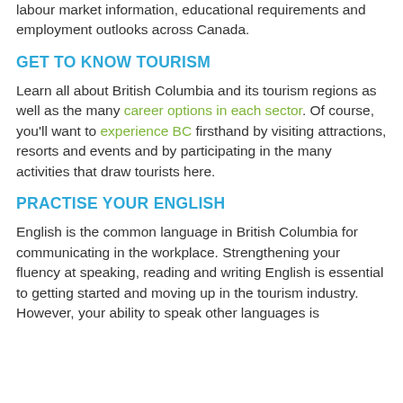labour market information, educational requirements and employment outlooks across Canada.
GET TO KNOW TOURISM
Learn all about British Columbia and its tourism regions as well as the many career options in each sector. Of course, you'll want to experience BC firsthand by visiting attractions, resorts and events and by participating in the many activities that draw tourists here.
PRACTISE YOUR ENGLISH
English is the common language in British Columbia for communicating in the workplace. Strengthening your fluency at speaking, reading and writing English is essential to getting started and moving up in the tourism industry. However, your ability to speak other languages is